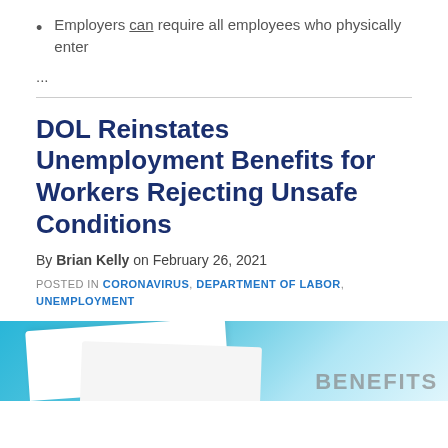Employers can require all employees who physically enter
...
DOL Reinstates Unemployment Benefits for Workers Rejecting Unsafe Conditions
By Brian Kelly on February 26, 2021
POSTED IN CORONAVIRUS, DEPARTMENT OF LABOR, UNEMPLOYMENT
[Figure (photo): Image showing unemployment benefits documents with light blue background and partial text reading BENEFITS]